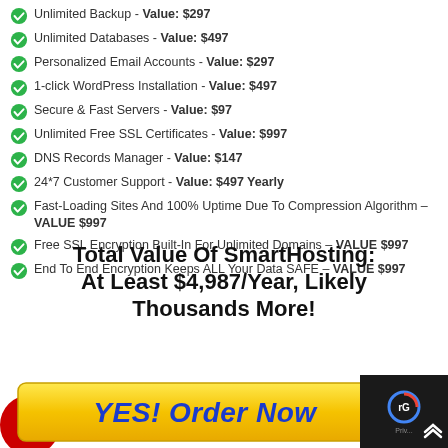Unlimited Backup - Value: $297
Unlimited Databases - Value: $497
Personalized Email Accounts - Value: $297
1-click WordPress Installation - Value: $497
Secure & Fast Servers - Value: $97
Unlimited Free SSL Certificates - Value: $997
DNS Records Manager - Value: $147
24*7 Customer Support - Value: $497 Yearly
Fast-Loading Sites And 100% Uptime Due To Compression Algorithm - VALUE $997
Free SSL Encryption Built-In For Unlimited Domains - VALUE $997
End To End Encryption Keeps ALL Your Data SAFE - VALUE $997
Total Value Of SmartHosting: At Least $4,987/Year, Likely Thousands More!
[Figure (illustration): Yellow button with blue italic bold text 'YES! Order Now', red decorative circle on left, gold seal on right]